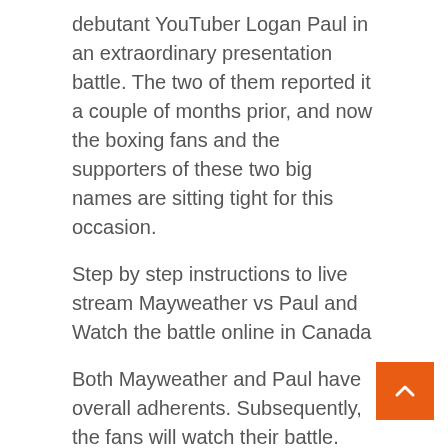debutant YouTuber Logan Paul in an extraordinary presentation battle. The two of them reported it a couple of months prior, and now the boxing fans and the supporters of these two big names are sitting tight for this occasion.
Step by step instructions to live stream Mayweather vs Paul and Watch the battle online in Canada
Both Mayweather and Paul have overall adherents. Subsequently, the fans will watch their battle. Individuals from Canada can watch the match online as the Mayweather vs Paul live stream will be accessible as PPV. Showtime and Fanmio Boxing is offering the tickets for pay-per-see. In the wake of purchasing the tickets it will not be an issue at all encounter the excitement of these two well known celebs battling against one another.